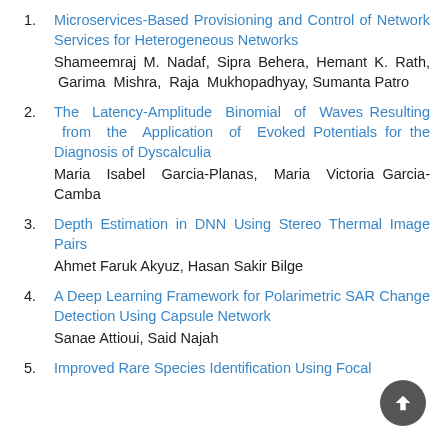Microservices-Based Provisioning and Control of Network Services for Heterogeneous Networks — Shameemraj M. Nadaf, Sipra Behera, Hemant K. Rath, Garima Mishra, Raja Mukhopadhyay, Sumanta Patro
The Latency-Amplitude Binomial of Waves Resulting from the Application of Evoked Potentials for the Diagnosis of Dyscalculia — Maria Isabel Garcia-Planas, Maria Victoria Garcia-Camba
Depth Estimation in DNN Using Stereo Thermal Image Pairs — Ahmet Faruk Akyuz, Hasan Sakir Bilge
A Deep Learning Framework for Polarimetric SAR Change Detection Using Capsule Network — Sanae Attioui, Said Najah
Improved Rare Species Identification Using Focal